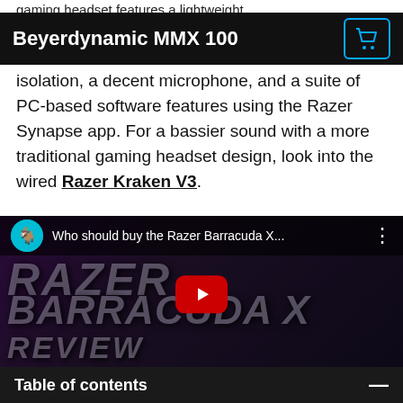gaming headset features a lightweight
Beyerdynamic MMX 100
isolation, a decent microphone, and a suite of PC-based software features using the Razer Synapse app. For a bassier sound with a more traditional gaming headset design, look into the wired Razer Kraken V3.
[Figure (screenshot): YouTube video thumbnail for 'Who should buy the Razer Barracuda X...' showing RAZER BARRACUDA X REVIEW text overlay on a dark purple background with a YouTube play button in the center.]
Table of contents